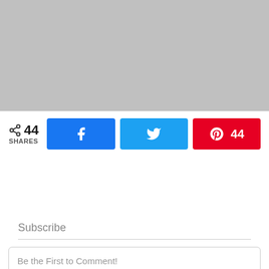[Figure (photo): Gray placeholder image area at the top of the page]
44 SHARES — Facebook share button, Twitter share button, Pinterest share button with count 44
Subscribe
Be the First to Comment!